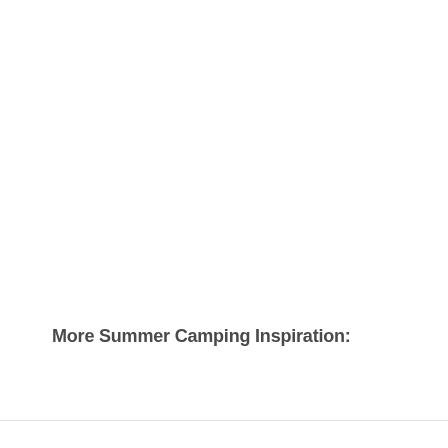More Summer Camping Inspiration: